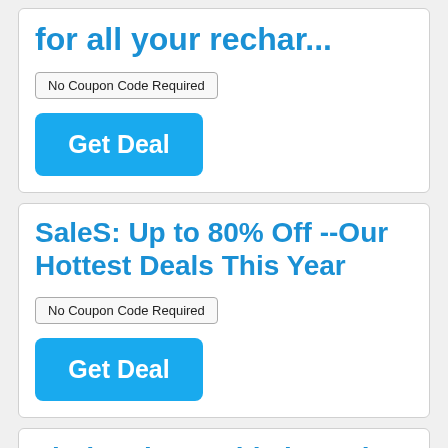for all your rechar...
No Coupon Code Required
Get Deal
SaleS: Up to 80% Off --Our Hottest Deals This Year
No Coupon Code Required
Get Deal
Find rechargeable batteries & chargers at discounted prices...